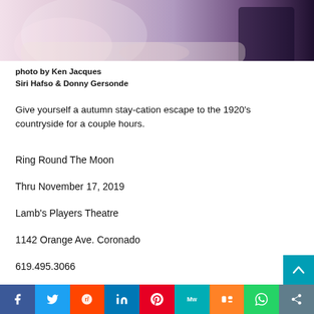[Figure (photo): Photo of two performers on stage, Siri Hafso and Donny Gersonde, in costume from Ring Round The Moon]
photo by Ken Jacques
Siri Hafso & Donny Gersonde
Give yourself a autumn stay-cation escape to the 1920's countryside for a couple hours.
Ring Round The Moon
Thru November 17, 2019
Lamb's Players Theatre
1142 Orange Ave. Coronado
619.495.3066
www.lambsplayers.org
[Figure (infographic): Social media sharing bar with buttons for Facebook, Twitter, Reddit, LinkedIn, Pinterest, MeWe, Mix, WhatsApp, and Share]